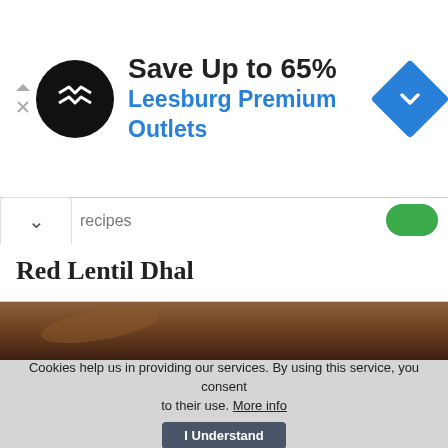[Figure (screenshot): Advertisement banner: Save Up to 65% Leesburg Premium Outlets with logo and navigation icon]
recipes
Red Lentil Dhal
[Figure (other): Three orange stars rating]
Red lentil soup is healthy and fits into every diet already for its easy and quick preparation....
Similar recipes like Red Lentil Dhal
6   41   45 min
[Figure (photo): Partial photo of food, brownish warm tones at bottom]
Cookies help us in providing our services. By using this service, you consent to their use. More info   I Understand